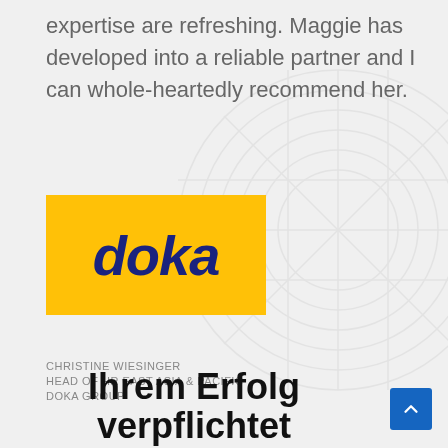expertise are refreshing. Maggie has developed into a reliable partner and I can whole-heartedly recommend her.
[Figure (logo): Doka logo - yellow rectangle background with dark blue bold italic 'doka' text]
CHRISTINE WIESINGER
HEAD OF HR EAST ASIA & PACIFIC
DOKA GROUP
Ihrem Erfolg verpflichtet